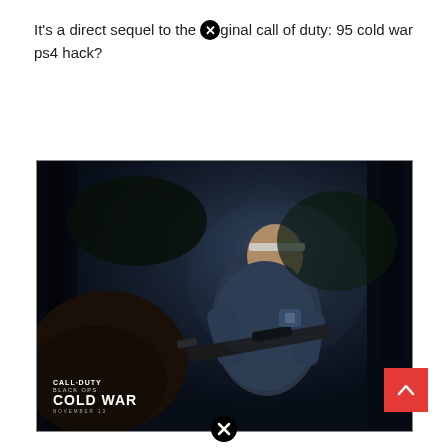It's a direct sequel to the [close icon] ginal call of duty: 95 cold war ps4 hack?
[Figure (photo): Call of Duty Black Ops Cold War promotional image showing a bearded soldier in military gear holding a rifle in a dark forest setting. The game logo 'CALL·DUTY BLACK OPS COLD WAR NOVEMBER 13' appears in the bottom left corner.]
[Figure (other): Red back-to-top button with white upward chevron arrow in bottom right]
[Figure (other): Black circle close/cancel icon at bottom center of page]